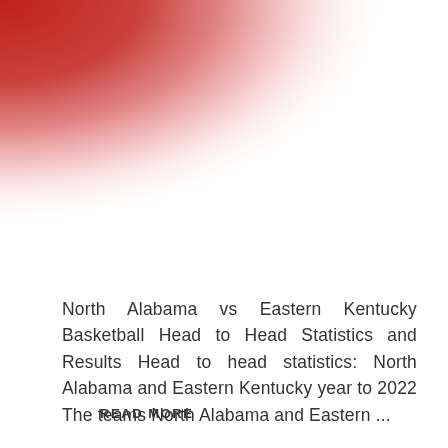[Figure (illustration): Red gradient graphic in the upper-left corner of the page, fading from solid red in the top-left to white toward the right and bottom, creating a pixelated/blurred gradient effect.]
North Alabama vs Eastern Kentucky Basketball Head to Head Statistics and Results Head to head statistics: North Alabama and Eastern Kentucky year to 2022 The teams North Alabama and Eastern ...
READ MORE